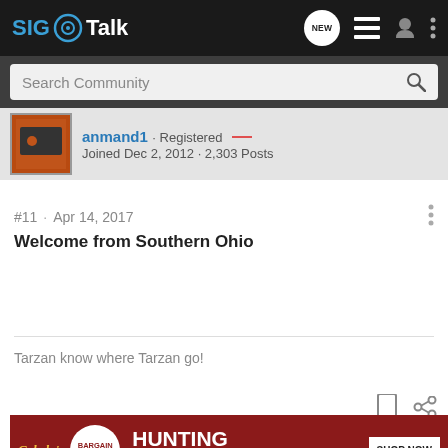SIG Talk
Search Community
anmand1 · Registered
Joined Dec 2, 2012 · 2,303 Posts
#11 · Apr 14, 2017
Welcome from Southern Ohio
Tarzan know where Tarzan go!
[Figure (screenshot): Cabela's Bargain Cave Hunting Clearance ad banner with Shop Now button]